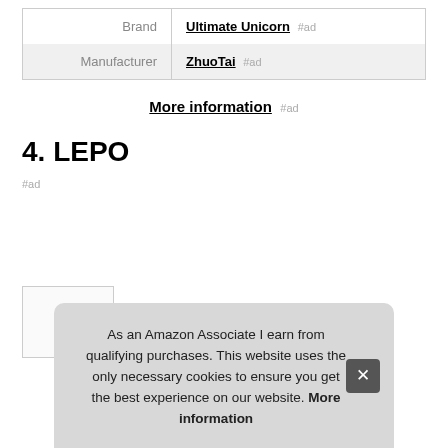|  |  |
| --- | --- |
| Brand | Ultimate Unicorn #ad |
| Manufacturer | ZhuoTai #ad |
More information #ad
4. LEPO
#ad
As an Amazon Associate I earn from qualifying purchases. This website uses the only necessary cookies to ensure you get the best experience on our website. More information